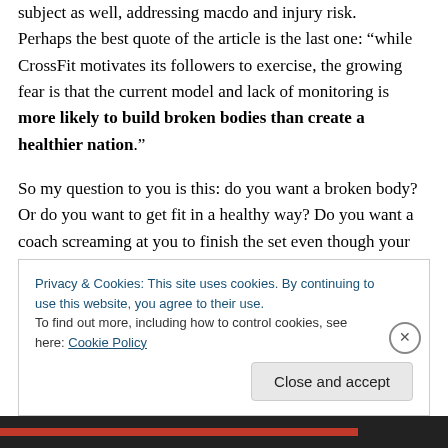subject as well, addressing macdo and injury risk. Perhaps the best quote of the article is the last one: “while CrossFit motivates its followers to exercise, the growing fear is that the current model and lack of monitoring is more likely to build broken bodies than create a healthier nation.”
So my question to you is this: do you want a broken body? Or do you want to get fit in a healthy way? Do you want a coach screaming at you to finish the set even though your form has crumbled and you’re experiencing pain? Or do you want to train smart? Do you want to follow a coach
Privacy & Cookies: This site uses cookies. By continuing to use this website, you agree to their use.
To find out more, including how to control cookies, see here: Cookie Policy